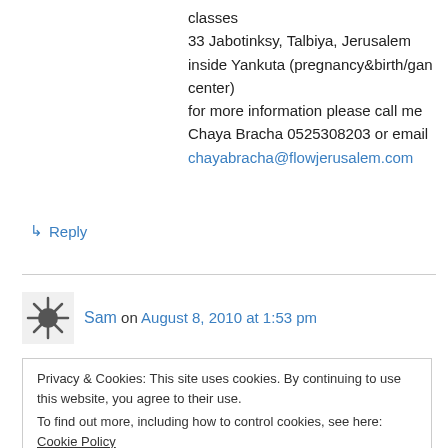classes
33 Jabotinksy, Talbiya, Jerusalem
inside Yankuta (pregnancy&birth/gan center)
for more information please call me Chaya Bracha 0525308203 or email
chayabracha@flowjerusalem.com
↳ Reply
Sam on August 8, 2010 at 1:53 pm
Privacy & Cookies: This site uses cookies. By continuing to use this website, you agree to their use.
To find out more, including how to control cookies, see here: Cookie Policy